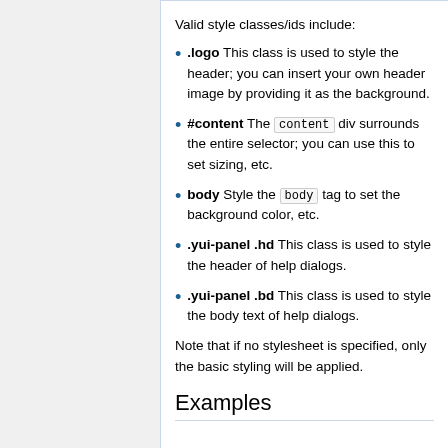Valid style classes/ids include:
.logo This class is used to style the header; you can insert your own header image by providing it as the background.
#content The content div surrounds the entire selector; you can use this to set sizing, etc.
body Style the body tag to set the background color, etc.
.yui-panel .hd This class is used to style the header of help dialogs.
.yui-panel .bd This class is used to style the body text of help dialogs.
Note that if no stylesheet is specified, only the basic styling will be applied.
Examples